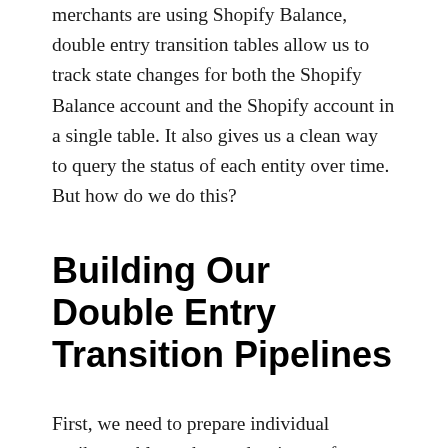merchants are using Shopify Balance, double entry transition tables allow us to track state changes for both the Shopify Balance account and the Shopify account in a single table. It also gives us a clean way to query the status of each entity over time. But how do we do this?
Building Our Double Entry Transition Pipelines
First, we need to prepare individual attribute tables to be used as inputs for our double entry transition data infrastructure. We need at least one attribute, but it can scale to any number of